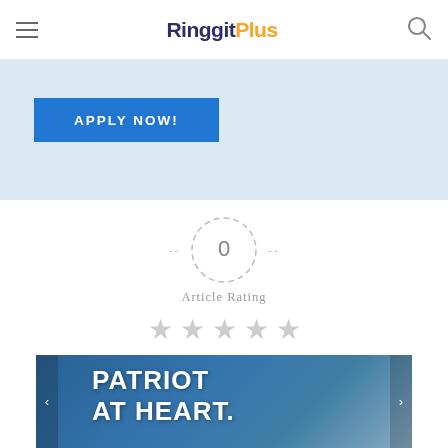RinggitPlus
[Figure (other): Apply Now button on a light blue banner background]
[Figure (other): Article rating widget: dashed circle showing 0, label 'Article Rating', five grey stars]
[Figure (other): Banner image with text 'PATRIOT AT HEART.' on a dark blue background with an architectural photo]